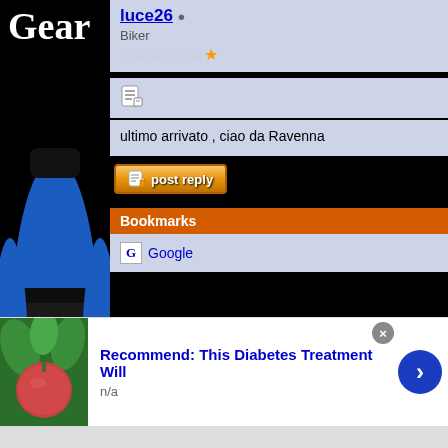[Figure (photo): Motorcycle gear advertisement showing a blue and black jacket with Scorpion branding and a black helmet. Text 'Gear' visible at top. 'infolinks' label at bottom.]
luce26
Biker
★★★★★★★
[Figure (other): Post/reply icon (notepad icon)]
ultimo arrivato , ciao da Ravenna
[Figure (other): Post reply button with icon]
Bookmarks
Google
Currently Active Users Viewing
[Figure (photo): Advertisement: Recommend: This Diabetes Treatment Will. Shows a fruit/vegetable image on left, blue arrow button, close X button. Text: n/a]